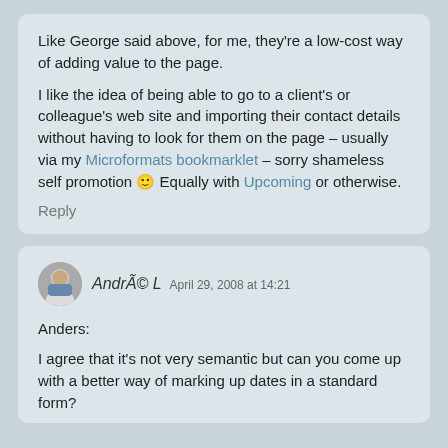Like George said above, for me, they're a low-cost way of adding value to the page.

I like the idea of being able to go to a client's or colleague's web site and importing their contact details without having to look for them on the page – usually via my Microformats bookmarklet – sorry shameless self promotion 🙂 Equally with Upcoming or otherwise.
Reply
André L  April 29, 2008 at 14:21
Anders:
I agree that it's not very semantic but can you come up with a better way of marking up dates in a standard form?